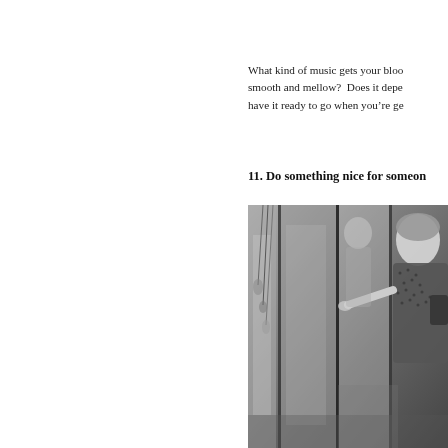What kind of music gets your blood pumping? Or do you prefer smooth and mellow?  Does it depend on your mood? If so, have it ready to go when you're getting ready.
11. Do something nice for someone
[Figure (photo): Black and white photograph of a woman in a dotted jacket looking at a shop window display, reflecting urban street scene with glass panels and store interior visible.]